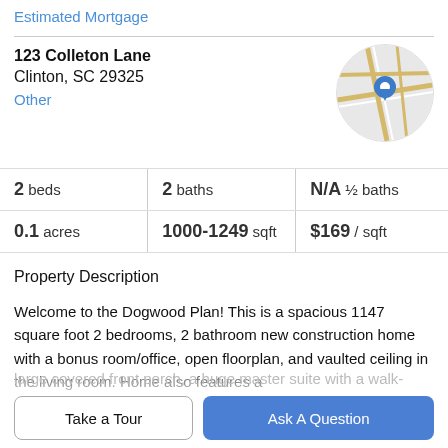Estimated Mortgage
123 Colleton Lane
Clinton, SC 29325
Other
[Figure (map): Circular map thumbnail showing street map with blue location pin marker]
| 2 beds | 2 baths | N/A ½ baths |
| 0.1 acres | 1000-1249 sqft | $169 / sqft |
Property Description
Welcome to the Dogwood Plan! This is a spacious 1147 square foot 2 bedrooms, 2 bathroom new construction home with a bonus room/office, open floorplan, and vaulted ceiling in the living room. Home also features a
large covered front porch, a huge master suite with a walk-